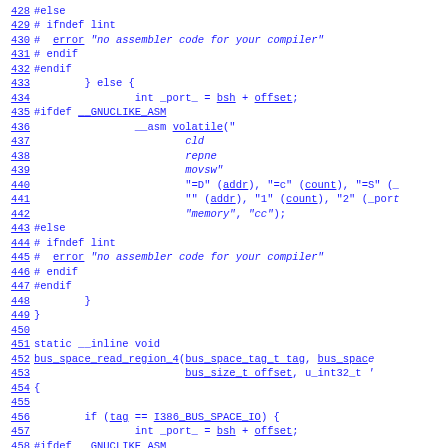Source code listing lines 428-459, C/assembly code for bus_space_read_region functions